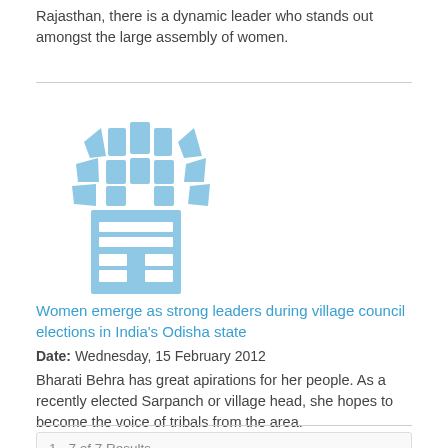Rajasthan, there is a dynamic leader who stands out amongst the large assembly of women.
[Figure (logo): UN Women / World Bank style logo in light blue, showing a stylized globe/wheat sheaf on top and rectangular blocks below forming a letter-like pattern]
Women emerge as strong leaders during village council elections in India's Odisha state
Date: Wednesday, 15 February 2012
Bharati Behra has great apirations for her people. As a recently elected Sarpanch or village head, she hopes to become the voice of tribals from the area.
1 - 7 of 7 Results